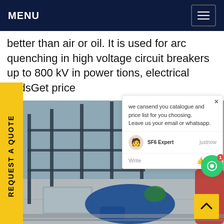MENU
better than air or oil. It is used for arc quenching in high voltage circuit breakers up to 800 kV in power tions, electrical gridsGet price
REQUEST A QUOTE
[Figure (photo): Workers in blue uniforms kneeling and working on electrical equipment outdoors at an industrial site with scaffolding and switchgear structures]
we cansend you catalogue and price list for you choosing. Leave us your email or whatsapp.
SF6 Expert   justnow
Write